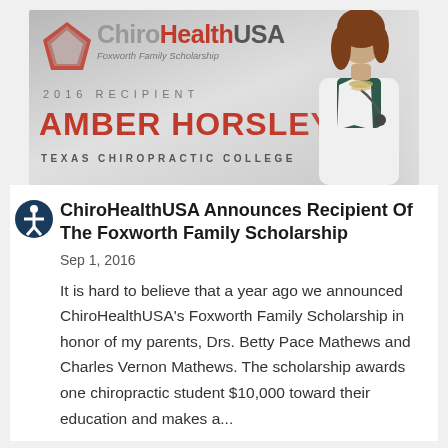[Figure (infographic): ChiroHealthUSA Foxworth Family Scholarship banner with logo, 2016 Recipient Amber Horsley, Texas Chiropractic College, and photo of a woman in a white coat]
ChiroHealthUSA Announces Recipient Of The Foxworth Family Scholarship
Sep 1, 2016
It is hard to believe that a year ago we announced ChiroHealthUSA's Foxworth Family Scholarship in honor of my parents, Drs. Betty Pace Mathews and Charles Vernon Mathews. The scholarship awards one chiropractic student $10,000 toward their education and makes a...